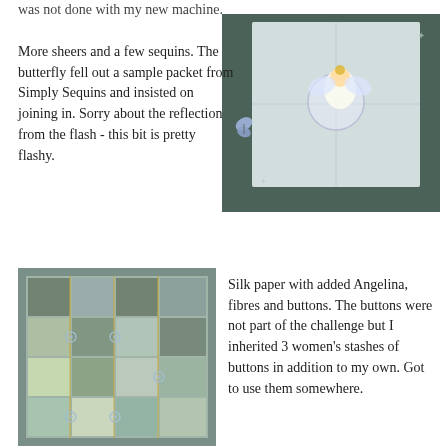was not done with my new machine.
More sheers and a few sequins. The butterfly fell out a sample packet from Simply Sequins and insisted on joining in. Sorry about the reflection from the flash - this bit is pretty flashy.
[Figure (photo): A sheer/sequin textile piece with an angel figure in the center on a dark teal background, with a butterfly embellishment to the left side.]
[Figure (photo): A silk paper quilt with added Angelina fibres, featuring a grid pattern of squares with buttons and decorative elements in blue, green and gold tones.]
Silk paper with added Angelina, fibres and buttons. The buttons were not part of the challenge but I inherited 3 women's stashes of buttons in addition to my own. Got to use them somewhere.